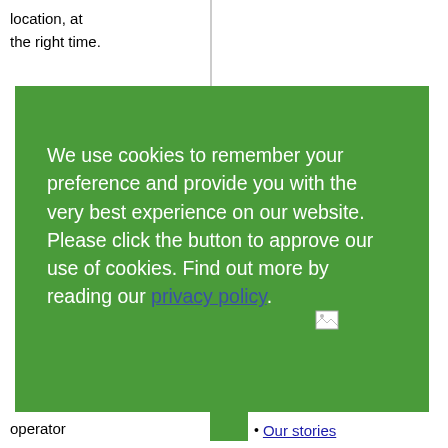location, at the right time.
We use cookies to remember your preference and provide you with the very best experience on our website. Please click the button to approve our use of cookies. Find out more by reading our privacy policy.
operator
Our stories